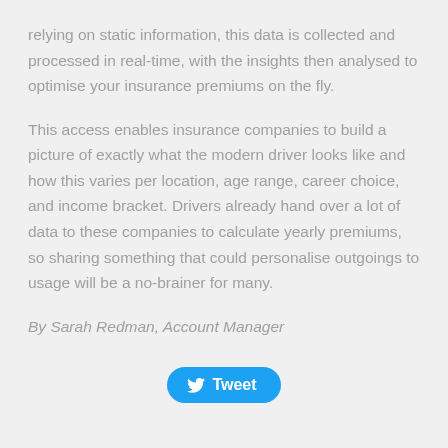relying on static information, this data is collected and processed in real-time, with the insights then analysed to optimise your insurance premiums on the fly.
This access enables insurance companies to build a picture of exactly what the modern driver looks like and how this varies per location, age range, career choice, and income bracket. Drivers already hand over a lot of data to these companies to calculate yearly premiums, so sharing something that could personalise outgoings to usage will be a no-brainer for many.
By Sarah Redman, Account Manager
[Figure (other): Tweet button with Twitter bird icon]